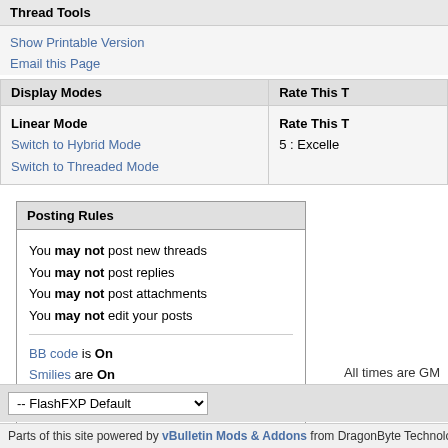Thread Tools
Show Printable Version
Email this Page
| Display Modes | Rate This T |
| --- | --- |
| Linear Mode
Switch to Hybrid Mode
Switch to Threaded Mode | Rate This T
5 : Excelle |
Posting Rules
You may not post new threads
You may not post replies
You may not post attachments
You may not edit your posts
BB code is On
Smilies are On
[IMG] code is On
HTML code is Off
Forum Rules
All times are GM
-- FlashFXP Default
Parts of this site powered by vBulletin Mods & Addons from DragonByte Technologies Ltd.